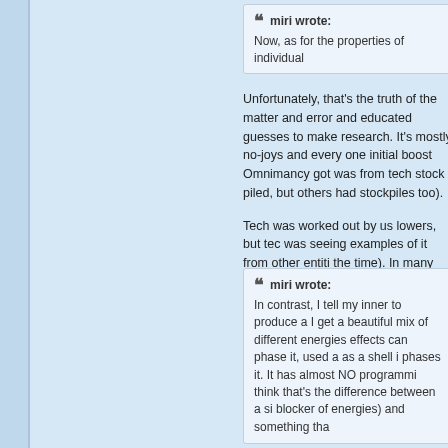miri wrote: Now, as for the properties of individual
Unfortunately, that's the truth of the matter and error and educated guesses to make research. It's mostly no-joys and every one initial boost Omnimancy got was from tech stock piled, but others had stockpiles too).
Tech was worked out by us lowers, but tec was seeing examples of it from other entiti the time). In many cases, what WAS work that shouldn't.
miri wrote: In contrast, I tell my inner to produce a I get a beautiful mix of different energies effects can phase it, used a as a shell i phases it. It has almost NO programmi think that's the difference between a si blocker of energies) and something tha